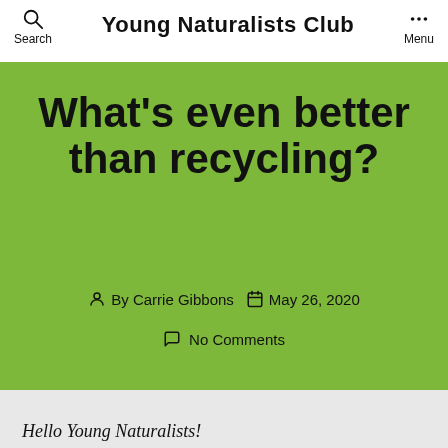Young Naturalists Club
What's even better than recycling?
By Carrie Gibbons   May 26, 2020
No Comments
Hello Young Naturalists!
This week is all about waste and how to make make less of it!  We will learn how to practice the 3 R's (Reduce, Reuse, Recycle)--even if you think you already recycle.